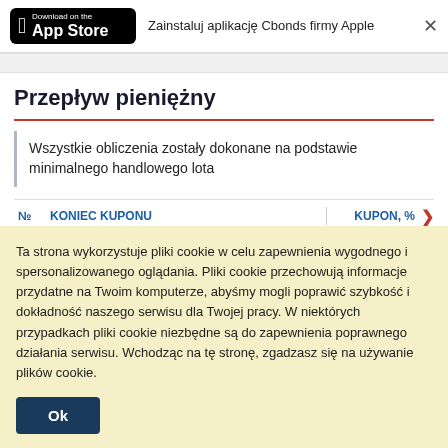[Figure (screenshot): App Store download badge — black rounded rectangle with Apple logo and 'Download on the App Store' text]
Zainstaluj aplikację Cbonds firmy Apple
Przepływ pieniężny
Wszystkie obliczenia zostały dokonane na podstawie minimalnego handlowego lota
| № | KONIEC KUPONU | KUPON, % |
| --- | --- | --- |
Ta strona wykorzystuje pliki cookie w celu zapewnienia wygodnego i spersonalizowanego oglądania. Pliki cookie przechowują informacje przydatne na Twoim komputerze, abyśmy mogli poprawić szybkość i dokładność naszego serwisu dla Twojej pracy. W niektórych przypadkach pliki cookie niezbędne są do zapewnienia poprawnego działania serwisu. Wchodząc na tę stronę, zgadzasz się na używanie plików cookie.
Ok